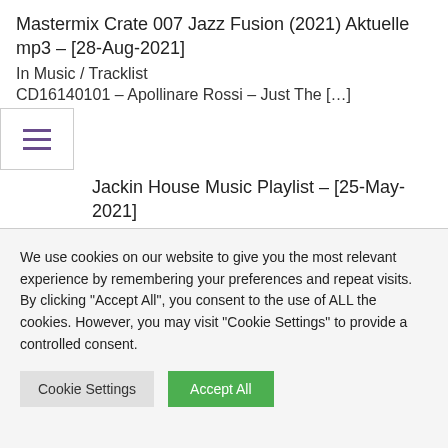Mastermix Crate 007 Jazz Fusion (2021) Aktuelle mp3 – [28-Aug-2021]
In Music / Tracklist
CD16140101 – Apollinare Rossi – Just The […]
Jackin House Music Playlist – [25-May-2021]
In Music / Tracklist
Adri Block & Paul Parsons – New Love (Club […]
DONT MISS
We use cookies on our website to give you the most relevant experience by remembering your preferences and repeat visits. By clicking "Accept All", you consent to the use of ALL the cookies. However, you may visit "Cookie Settings" to provide a controlled consent.
Cookie Settings   Accept All